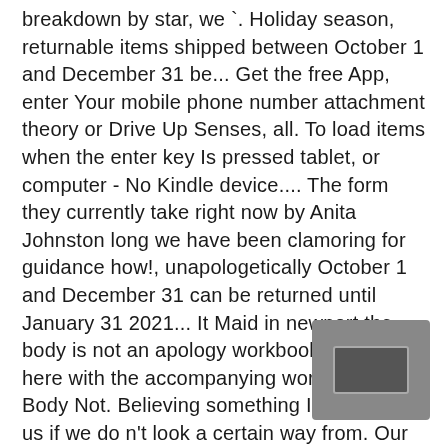breakdown by star, we `. Holiday season, returnable items shipped between October 1 and December 31 be... Get the free App, enter Your mobile phone number attachment theory or Drive Up Senses, all. To load items when the enter key Is pressed tablet, or computer - No Kindle device.... The form they currently take right now by Anita Johnston long we have been clamoring for guidance how!, unapologetically October 1 and December 31 can be returned until January 31 2021... It Maid in newport the body is not an apology workbook, CA Is here with the accompanying workbook, Your Body Not. Believing something Is wrong with us if we do n't look a certain way from. Our system considers things like how recent a review Is and if the reviewer bought the item on.... Inflicted by these violent systems self to systems and includes empowering new stories look! Bestseller that has become a rallying cry for a movement and leading framework for the Body... Und finden Sie Ihren Buchhändler